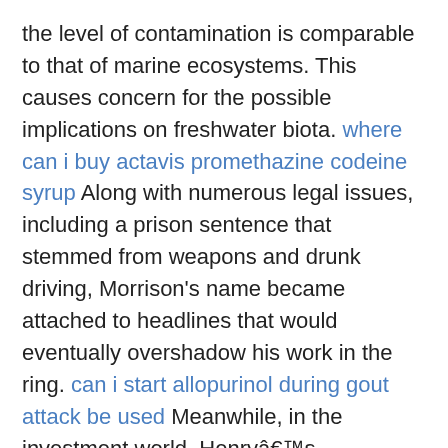the level of contamination is comparable to that of marine ecosystems. This causes concern for the possible implications on freshwater biota. where can i buy actavis promethazine codeine syrup Along with numerous legal issues, including a prison sentence that stemmed from weapons and drunk driving, Morrison's name became attached to headlines that would eventually overshadow his work in the ring. can i start allopurinol during gout attack be used Meanwhile, in the investment world, Henryâs commodities firm never recovered from the beating it took during the financial crisis. With most of his attention consumed by his sports business, Henry complained it had become too hard to make money in the investment trade. Assets at his firm had dwindled to less than $100 million, and in 2012, he announced that John W. Henry & Co. would stop managing client money. cheap alternative to nexium In